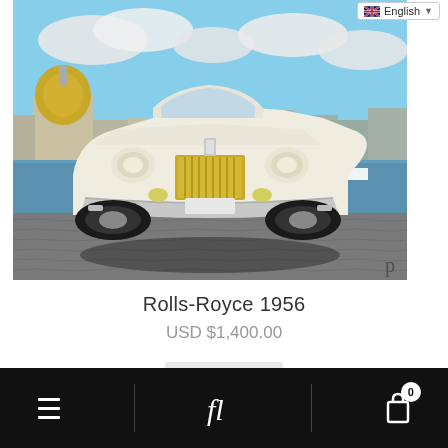[Figure (screenshot): Language selector dropdown showing English with UK flag icon in top right corner of page]
[Figure (photo): A white vintage 1956 Rolls-Royce photographed from the front, parked on cobblestones near a waterfront with a city skyline (including a domed building) in the background. A boat is visible on the water.]
Rolls-Royce 1956
USD $1,400.00
[Figure (screenshot): Mobile app bottom navigation bar with three icons: home/hamburger icon on left, stylized 'fl' logo in center, and a bag/cart icon on right with a badge showing '0'. Background is black.]